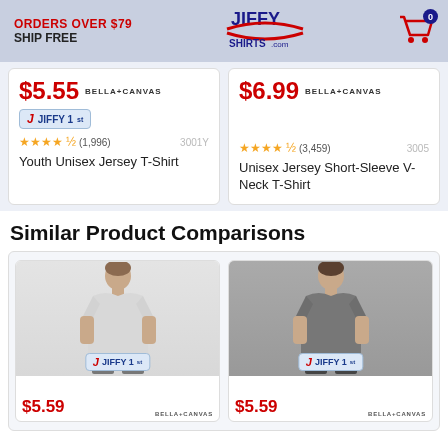ORDERS OVER $79 SHIP FREE | JiffyShirts.com | Cart: 0
[Figure (other): Product card: $5.55 BELLA+CANVAS, Jiffy 1st badge, 4.5 stars (1,996) SKU 3001Y, Youth Unisex Jersey T-Shirt]
[Figure (other): Product card: $6.99 BELLA+CANVAS, 4.5 stars (3,459) SKU 3005, Unisex Jersey Short-Sleeve V-Neck T-Shirt]
Similar Product Comparisons
[Figure (other): Comparison card: man in light grey t-shirt, Jiffy 1st badge, $5.59, BELLA+CANVAS]
[Figure (other): Comparison card: man in dark grey t-shirt, Jiffy 1st badge, $5.59, BELLA+CANVAS]